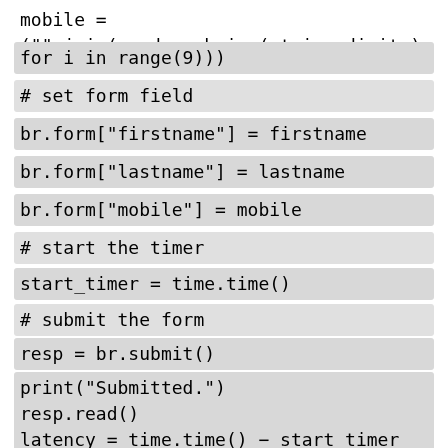mobile = ("".join(random.choice(string.digits)
for i in range(9)))
# set form field
br.form["firstname"] = firstname
br.form["lastname"] = lastname
br.form["mobile"] = mobile
# start the timer
start_timer = time.time()
# submit the form
resp = br.submit()
print("Submitted.")
resp.read()
# stop the timer
latency = time.time() - start_timer